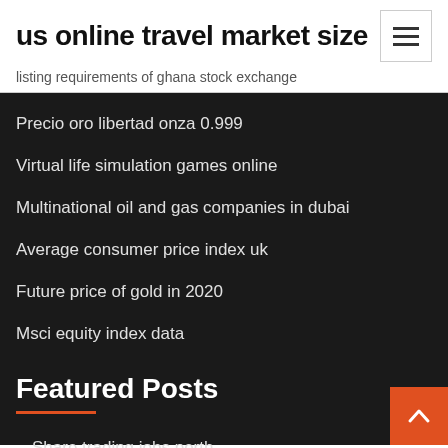us online travel market size
listing requirements of ghana stock exchange
Precio oro libertad onza 0.999
Virtual life simulation games online
Multinational oil and gas companies in dubai
Average consumer price index uk
Future price of gold in 2020
Msci equity index data
Featured Posts
Share trading jobs perth
Cfd online wiki turbulence intensity